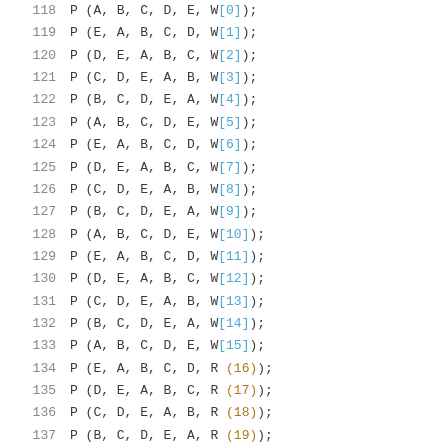118    P (A, B, C, D, E, W[0]);
119    P (E, A, B, C, D, W[1]);
120    P (D, E, A, B, C, W[2]);
121    P (C, D, E, A, B, W[3]);
122    P (B, C, D, E, A, W[4]);
123    P (A, B, C, D, E, W[5]);
124    P (E, A, B, C, D, W[6]);
125    P (D, E, A, B, C, W[7]);
126    P (C, D, E, A, B, W[8]);
127    P (B, C, D, E, A, W[9]);
128    P (A, B, C, D, E, W[10]);
129    P (E, A, B, C, D, W[11]);
130    P (D, E, A, B, C, W[12]);
131    P (C, D, E, A, B, W[13]);
132    P (B, C, D, E, A, W[14]);
133    P (A, B, C, D, E, W[15]);
134    P (E, A, B, C, D, R (16));
135    P (D, E, A, B, C, R (17));
136    P (C, D, E, A, B, R (18));
137    P (B, C, D, E, A, R (19));
138
139    #undef K